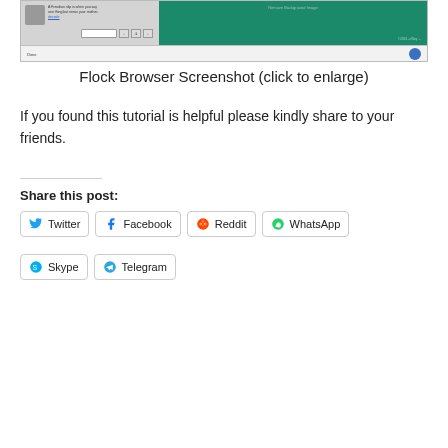[Figure (screenshot): Flock Browser screenshot showing social networking interface with avatar, text, teal ocean background image, toolbar, and search field]
Flock Browser Screenshot (click to enlarge)
If you found this tutorial is helpful please kindly share to your friends.
Share this post:
Twitter
Facebook
Reddit
WhatsApp
Skype
Telegram